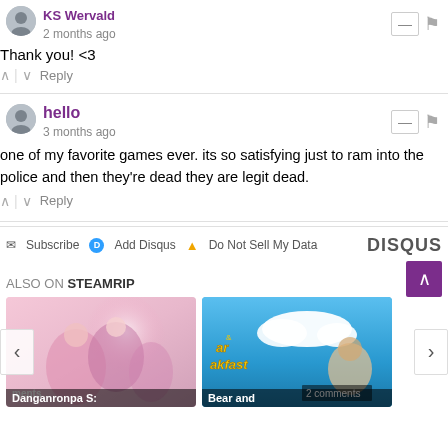KS Wervald
2 months ago
Thank you! <3
^ | v  Reply
hello
3 months ago
one of my favorite games ever. its so satisfying just to ram into the police and then they're dead they are legit dead.
^ | v  Reply
✉ Subscribe  D Add Disqus  ▲ Do Not Sell My Data  DISQUS
ALSO ON STEAMRIP
[Figure (screenshot): Danganronpa S game thumbnail with anime characters]
[Figure (screenshot): Bear and Breakfast game thumbnail with bear and blue sky background, 2 comments]